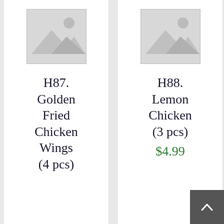[Figure (illustration): Placeholder image icon for product H87 - grey mountain/landscape placeholder]
H87. Golden Fried Chicken Wings (4 pcs)
[Figure (illustration): Placeholder image icon for product H88 - grey mountain/landscape placeholder]
H88. Lemon Chicken (3 pcs)
$4.99